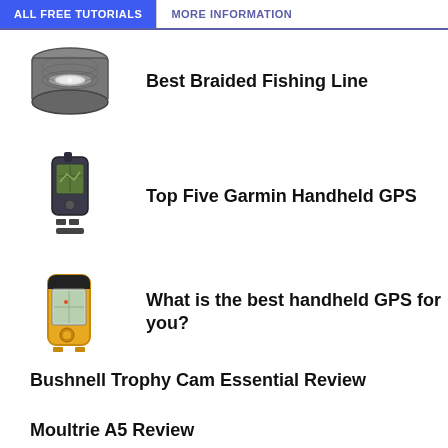ALL FREE TUTORIALS | MORE INFORMATION
Best Braided Fishing Line
Top Five Garmin Handheld GPS
What is the best handheld GPS for you?
Bushnell Trophy Cam Essential Review
Moultrie A5 Review